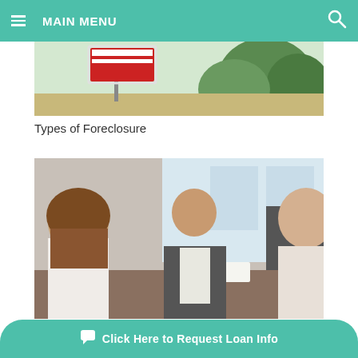MAIN MENU
[Figure (photo): A real estate 'For Sale' sign with trees and outdoor setting in background]
Types of Foreclosure
[Figure (photo): A financial advisor or loan officer sitting across a desk meeting with a couple, in a modern office setting]
5 Steps in Obtaining a Hard Money Loan
Click Here to Request Loan Info